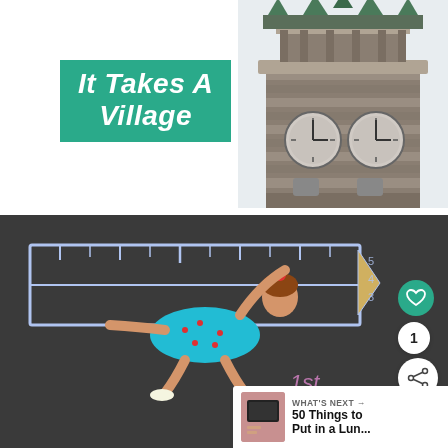It Takes A Village
[Figure (photo): Stone clock tower with green copper spires against a white sky]
[Figure (photo): Young girl in a teal dress lying on asphalt next to a chalk drawing of a giant ruler. Text 'Day' visible in chalk. Social media UI overlay with heart button, share count '1', and share button. 'WHAT'S NEXT' bar at bottom right showing '50 Things to Put in a Lun...']